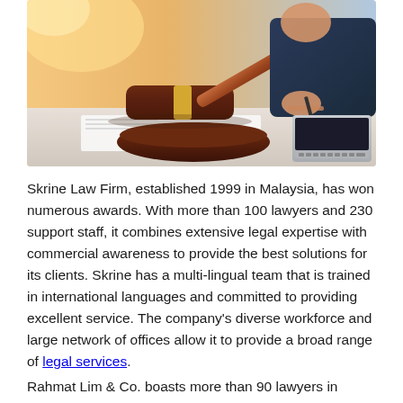[Figure (photo): A judge's wooden gavel with gold band on a white surface, with a person in a suit writing at a laptop in the background, warm sunlight tone.]
Skrine Law Firm, established 1999 in Malaysia, has won numerous awards. With more than 100 lawyers and 230 support staff, it combines extensive legal expertise with commercial awareness to provide the best solutions for its clients. Skrine has a multi-lingual team that is trained in international languages and committed to providing excellent service. The company's diverse workforce and large network of offices allow it to provide a broad range of legal services.
Rahmat Lim & Co. boasts more than 90 lawyers in